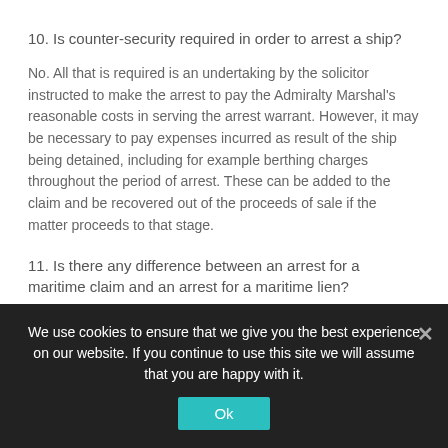10. Is counter-security required in order to arrest a ship?
No. All that is required is an undertaking by the solicitor instructed to make the arrest to pay the Admiralty Marshal’s reasonable costs in serving the arrest warrant. However, it may be necessary to pay expenses incurred as result of the ship being detained, including for example berthing charges throughout the period of arrest. These can be added to the claim and be recovered out of the proceeds of sale if the matter proceeds to that stage.
11. Is there any difference between an arrest for a maritime claim and an arrest for a maritime lien?
Maritime claims are dependant upon the ownership of the ship. The ship
We use cookies to ensure that we give you the best experience on our website. If you continue to use this site we will assume that you are happy with it.